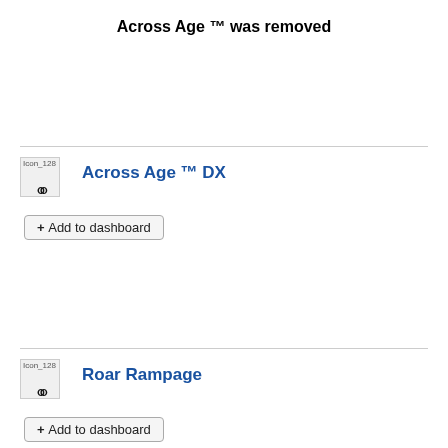Across Age ™ was removed
Across Age ™ DX
+ Add to dashboard
Roar Rampage
+ Add to dashboard
Chicken Raid